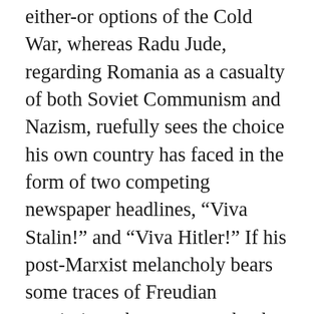either-or options of the Cold War, whereas Radu Jude, regarding Romania as a casualty of both Soviet Communism and Nazism, ruefully sees the choice his own country has faced in the form of two competing newspaper headlines, “Viva Stalin!” and “Viva Hitler!” If his post-Marxist melancholy bears some traces of Freudian pessimism, these seem to be the logical result of his conviction that acknowledging the shameful and repressed history of his country is both morally necessary and, in the current cultural climate, practically impossible. Thus sarcasm becomes his habitual reflex — like “political correctness”, both a veiled admission and a frustrated